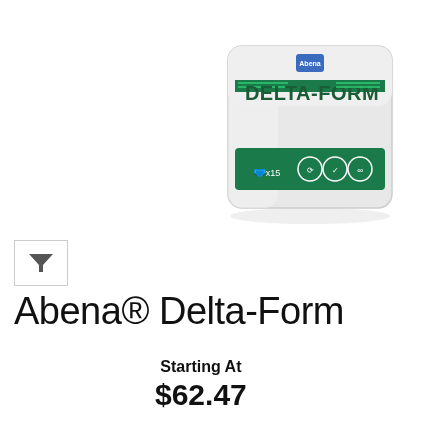[Figure (photo): Product photo of Abena Delta-Form incontinence pad package. White and silver bag with green stripe bearing the text DELTA-FORM in dark green letters. Shows x15 quantity icon and care symbols. Small Abena logo at top.]
[Figure (other): Small filter/funnel icon button in a square border on the left side.]
Abena® Delta-Form
Starting At
$62.47